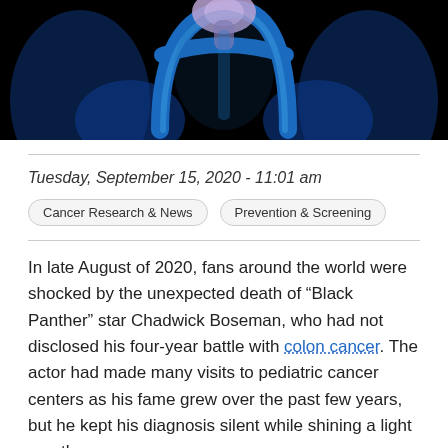[Figure (photo): Medical illustration of the human colon/large intestine rendered in blue tones against a dark background, showing internal anatomy from a frontal view.]
Tuesday, September 15, 2020 - 11:01 am
Cancer Research & News | Prevention & Screening
In late August of 2020, fans around the world were shocked by the unexpected death of “Black Panther” star Chadwick Boseman, who had not disclosed his four-year battle with colon cancer. The actor had made many visits to pediatric cancer centers as his fame grew over the past few years, but he kept his diagnosis silent while shining a light on others.
Boseman also shone a light on something you might